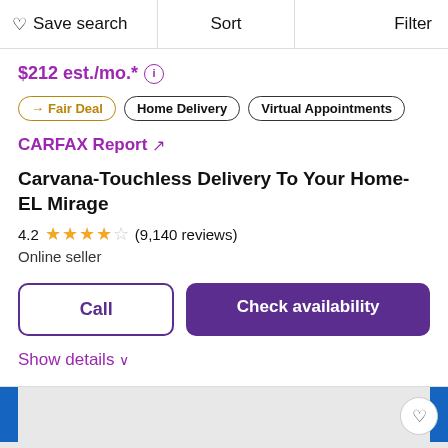♡ Save search | Sort | Filter
$212 est./mo.* ⓘ
→ Fair Deal
Home Delivery
Virtual Appointments
CARFAX Report ↗
Carvana-Touchless Delivery To Your Home-EL Mirage
4.2 ★★★★☆ (9,140 reviews)
Online seller
Call | Check availability
Show details ∨